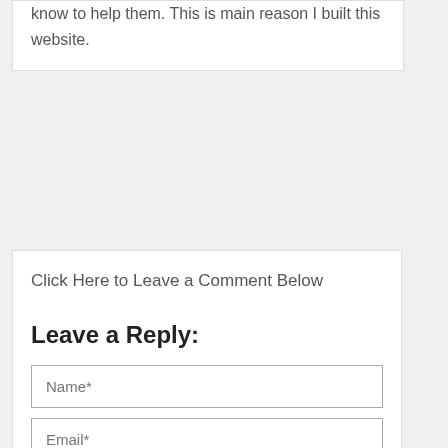know to help them. This is main reason I built this website.
Click Here to Leave a Comment Below
Leave a Reply:
Name*
Email*
Website
Save my name, email, and website in